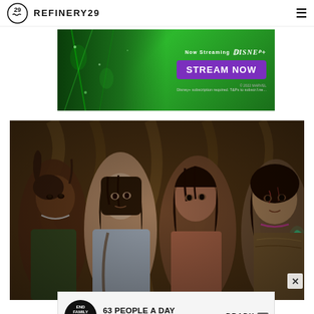REFINERY29
[Figure (photo): Disney+ advertisement banner with green background showing 'Now Streaming Disney+' and 'STREAM NOW' purple button]
[Figure (photo): Movie still showing four young women looking frightened in a dimly lit ornate room with curtains; one wears glowing neon light-up accessories]
[Figure (photo): Brady campaign advertisement: '63 PEOPLE A DAY DIE BY GUN SUICIDE.' with Brady and ad logos]